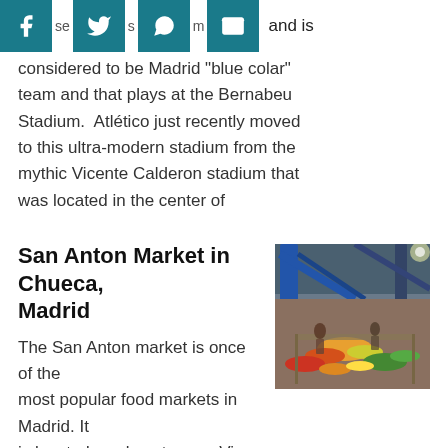[Figure (other): Social media share icons bar (Facebook, Twitter, WhatsApp, Email) in teal/dark cyan color, followed by inline text 'and is']
and is considered to be Madrid “blue colar” team and that plays at the Bernabeu Stadium.  Atlético just recently moved to this ultra-modern stadium from the mythic Vicente Calderon stadium that was located in the center of
San Anton Market in Chueca, Madrid
[Figure (photo): Overhead/aerial photo of San Anton Market interior showing market stalls with colorful produce, fruit, and vegetables, with metal structural beams visible above.]
The San Anton market is once of the most popular food markets in Madrid. It is located so close to gran Via street that it became soon after it was refurbished a top tourist attraction of Spain´s capital.  But San Anton market is located in a district where people actually live and locals enjoy shopping in the market for their fresh vegetables, fruit, fish, or